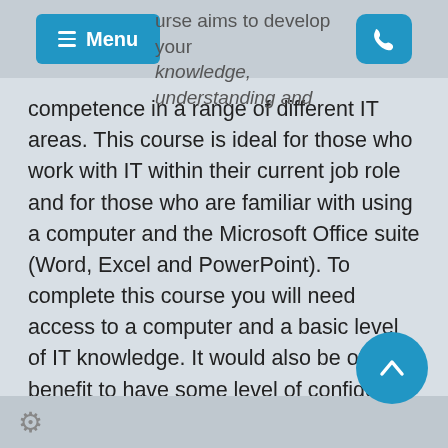urse aims to develop your knowledge, understanding and
competence in a range of different IT areas. This course is ideal for those who work with IT within their current job role and for those who are familiar with using a computer and the Microsoft Office suite (Word, Excel and PowerPoint). To complete this course you will need access to a computer and a basic level of IT knowledge. It would also be of benefit to have some level of confidence in producing your own documents in Word, PowerPoint and Excel (as you will need to do this as part of your assessment).